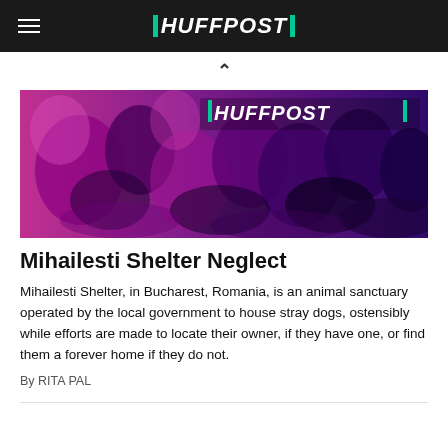HUFFPOST
[Figure (photo): Artistic purple and pink toned photo of dogs at a shelter with HuffPost logo overlaid]
Mihailesti Shelter Neglect
Mihailesti Shelter, in Bucharest, Romania, is an animal sanctuary operated by the local government to house stray dogs, ostensibly while efforts are made to locate their owner, if they have one, or find them a forever home if they do not.
By RITA PAL